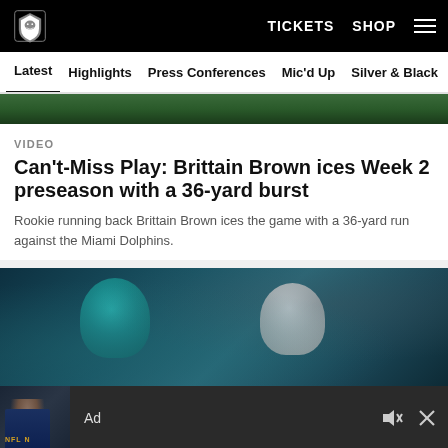Raiders | TICKETS SHOP
Latest  Highlights  Press Conferences  Mic'd Up  Silver & Black
[Figure (photo): Partial football game photo thumbnail strip at top of content area]
VIDEO
Can't-Miss Play: Brittain Brown ices Week 2 preseason with a 36-yard burst
Rookie running back Brittain Brown ices the game with a 36-yard run against the Miami Dolphins.
[Figure (photo): Football game action photo showing Miami Dolphins and Las Vegas Raiders players on the field]
Ad